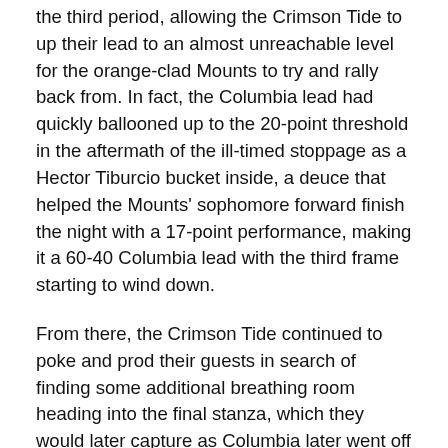the third period, allowing the Crimson Tide to up their lead to an almost unreachable level for the orange-clad Mounts to try and rally back from. In fact, the Columbia lead had quickly ballooned up to the 20-point threshold in the aftermath of the ill-timed stoppage as a Hector Tiburcio bucket inside, a deuce that helped the Mounts' sophomore forward finish the night with a 17-point performance, making it a 60-40 Columbia lead with the third frame starting to wind down.
From there, the Crimson Tide continued to poke and prod their guests in search of finding some additional breathing room heading into the final stanza, which they would later capture as Columbia later went off into the final quarter with decisive ownership of the 65-46 lead.
Yet to their credit, even with the bulk of the damage already having been administered against them, Antietam